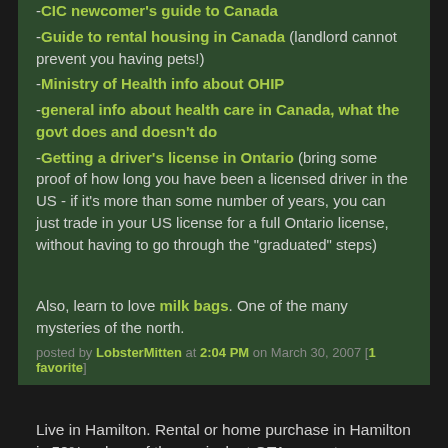-CIC newcomer's guide to Canada
-Guide to rental housing in Canada (landlord cannot prevent you having pets!)
-Ministry of Health info about OHIP
-general info about health care in Canada, what the govt does and doesn't do
-Getting a driver's license in Ontario (bring some proof of how long you have been a licensed driver in the US - if it's more than some number of years, you can just trade in your US license for a full Ontario license, without having to go through the "graduated" steps)
Also, learn to love milk bags. One of the many mysteries of the north.
posted by LobsterMitten at 2:04 PM on March 30, 2007 [1 favorite]
Live in Hamilton. Rental or home purchase in Hamilton is 50% or less of the equivalent GTA property.